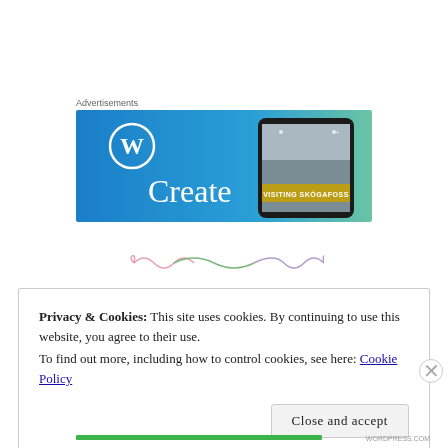Advertisements
[Figure (screenshot): WordPress advertisement banner with blue-green gradient background. Shows WordPress 'W' circle logo on left, large 'Create' text in white, and a smartphone displaying a waterfall photo with 'VISITING SKÓGAFOSS' overlay on right.]
[Figure (illustration): Decorative swirl/flourish divider in pink, green, and purple colors]
Privacy & Cookies: This site uses cookies. By continuing to use this website, you agree to their use.
To find out more, including how to control cookies, see here: Cookie Policy
Close and accept